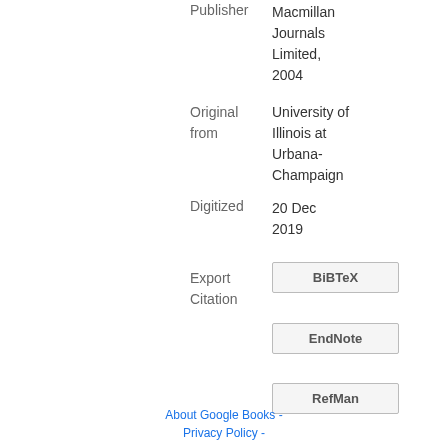Publisher
Macmillan Journals Limited, 2004
Original from
University of Illinois at Urbana-Champaign
Digitized
20 Dec 2019
Export Citation
BiBTeX
EndNote
RefMan
About Google Books - Privacy Policy -